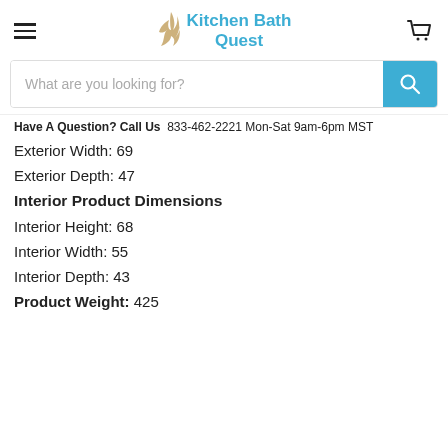[Figure (logo): Kitchen Bath Quest logo with flame icon and teal text]
What are you looking for?
Have A Question? Call Us  833-462-2221 Mon-Sat 9am-6pm MST
Exterior Width: 69
Exterior Depth: 47
Interior Product  Dimensions
Interior Height: 68
Interior Width: 55
Interior Depth: 43
Product Weight: 425